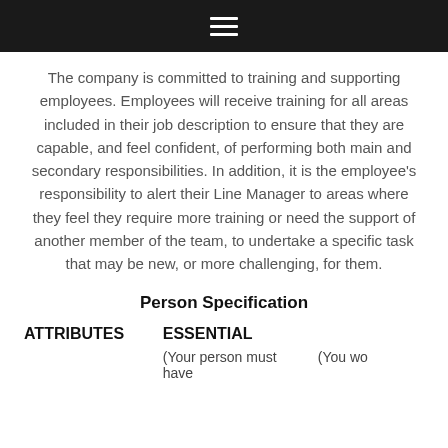≡
The company is committed to training and supporting employees. Employees will receive training for all areas included in their job description to ensure that they are capable, and feel confident, of performing both main and secondary responsibilities. In addition, it is the employee's responsibility to alert their Line Manager to areas where they feel they require more training or need the support of another member of the team, to undertake a specific task that may be new, or more challenging, for them.
Person Specification
| ATTRIBUTES | ESSENTIAL |  |
| --- | --- | --- |
|  | (Your person must have | (You wo |